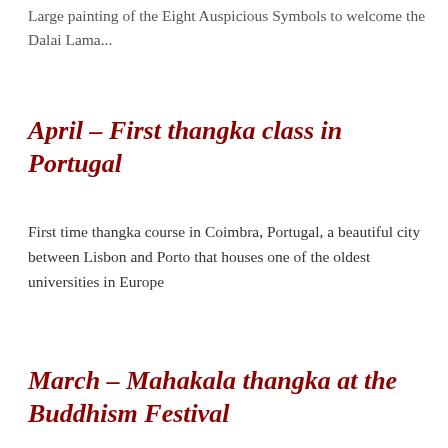Large painting of the Eight Auspicious Symbols to welcome the Dalai Lama...
April – First thangka class in Portugal
First time thangka course in Coimbra, Portugal, a beautiful city between Lisbon and Porto that houses one of the oldest universities in Europe
March – Mahakala thangka at the Buddhism Festival